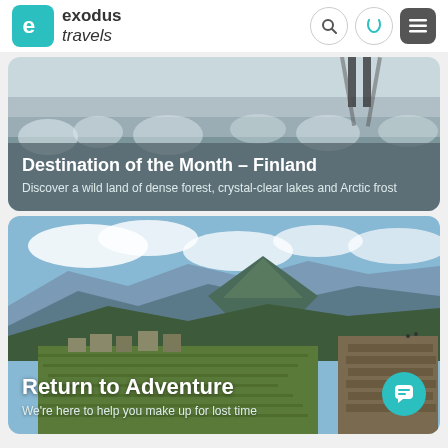exodus travels
[Figure (photo): Person skiing in snowy forest – Destination of the Month Finland banner]
Destination of the Month – Finland
Discover a wild land of dense forest, crystal-clear lakes and Arctic frost
[Figure (photo): Aerial view of Machu Picchu ruins with mountain peaks and blue sky – Return to Adventure banner]
Return to Adventure
We're here to help you make up for lost time